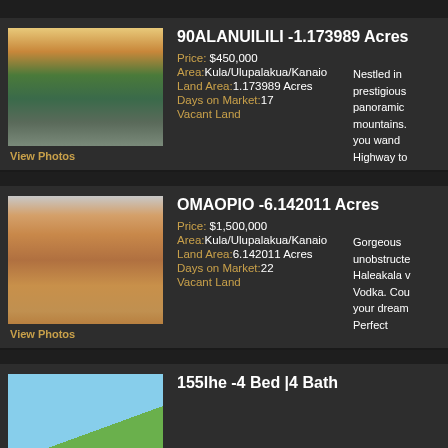90ALANUILILI -1.173989 Acres
Price: $450,000
Area:Kula/Ulupalakua/Kanaio
Land Area:1.173989 Acres
Days on Market:17
Vacant Land
Nestled in prestigious panoramic mountains. you wand Highway to
View Photos
OMAOPIO -6.142011 Acres
Price: $1,500,000
Area:Kula/Ulupalakua/Kanaio
Land Area:6.142011 Acres
Days on Market:22
Vacant Land
Gorgeous unobstructe Haleakala v Vodka. Cou your dream Perfect
View Photos
155lhe -4 Bed |4 Bath